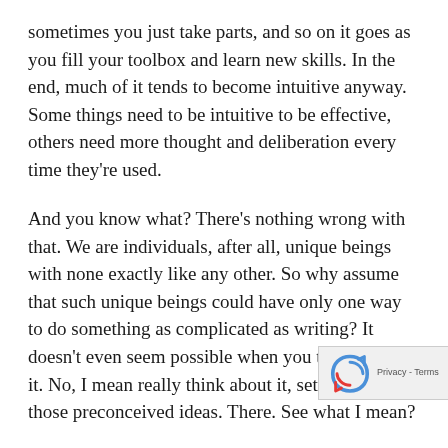sometimes you just take parts, and so on it goes as you fill your toolbox and learn new skills. In the end, much of it tends to become intuitive anyway. Some things need to be intuitive to be effective, others need more thought and deliberation every time they're used.
And you know what? There's nothing wrong with that. We are individuals, after all, unique beings with none exactly like any other. So why assume that such unique beings could have only one way to do something as complicated as writing? It doesn't even seem possible when you think about it. No, I mean really think about it, setting aside those preconceived ideas. There. See what I mean?
So don't succumb to any pressure to be like some writer, no matter how famous they are, how muc...